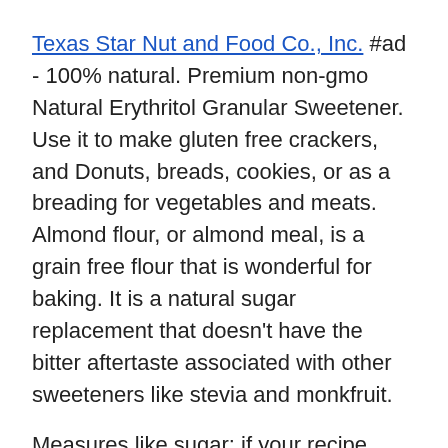Texas Star Nut and Food Co., Inc. #ad - 100% natural. Premium non-gmo Natural Erythritol Granular Sweetener. Use it to make gluten free crackers, and Donuts, breads, cookies, or as a breading for vegetables and meats. Almond flour, or almond meal, is a grain free flour that is wonderful for baking. It is a natural sugar replacement that doesn't have the bitter aftertaste associated with other sweeteners like stevia and monkfruit.
Measures like sugar: if your recipe calls for a cup of sugar, simply replace with a cup of Swerve. Bake & frost your cake: have your sugar replacement pantry staples with a bag of Granular for replacing white table sugar and a bag of Confectioners for replacing